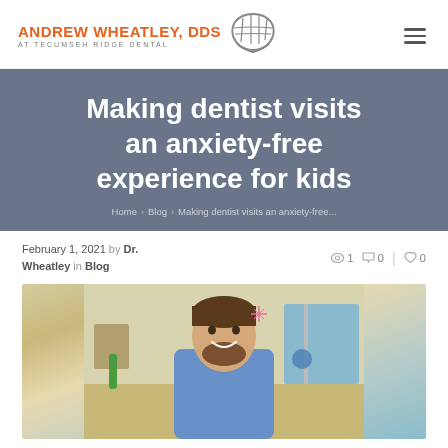ANDREW WHEATLEY, DDS AT TECUMSEH RIDGE DENTAL
Making dentist visits an anxiety-free experience for kids
Home > Blog > Making dentist visits an anxiety-free...
February 1, 2021 by Dr. Wheatley in Blog
[Figure (photo): Photo of Dr. Wheatley smiling in a dental office, wearing a blue scrub top]